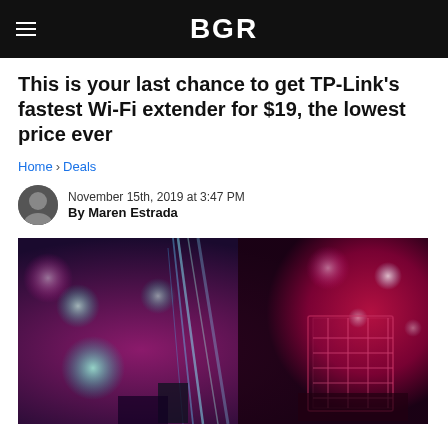BGR
This is your last chance to get TP-Link's fastest Wi-Fi extender for $19, the lowest price ever
Home › Deals
November 15th, 2019 at 3:47 PM
By Maren Estrada
[Figure (photo): Abstract bokeh tech/electronics photo with colorful lights in pink, teal, and blue tones, electronics circuit board visible on right side]